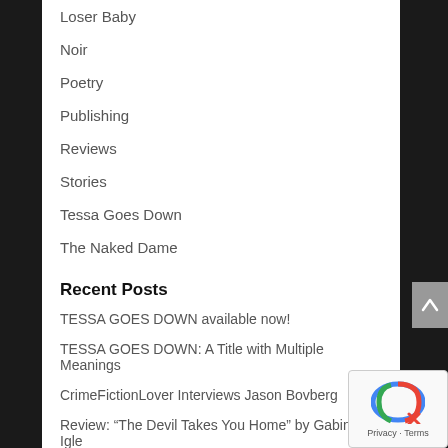Loser Baby
Noir
Poetry
Publishing
Reviews
Stories
Tessa Goes Down
The Naked Dame
Recent Posts
TESSA GOES DOWN available now!
TESSA GOES DOWN: A Title with Multiple Meanings
CrimeFictionLover Interviews Jason Bovberg
Review: “The Devil Takes You Home” by Gabino Igle
LOSER BABY Facelift